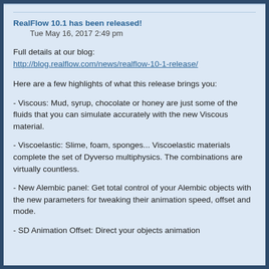RealFlow 10.1 has been released!
Tue May 16, 2017 2:49 pm
Full details at our blog:
http://blog.realflow.com/news/realflow-10-1-release/
Here are a few highlights of what this release brings you:
- Viscous: Mud, syrup, chocolate or honey are just some of the fluids that you can simulate accurately with the new Viscous material.
- Viscoelastic: Slime, foam, sponges... Viscoelastic materials complete the set of Dyverso multiphysics. The combinations are virtually countless.
- New Alembic panel: Get total control of your Alembic objects with the new parameters for tweaking their animation speed, offset and mode.
- SD Animation Offset: Direct your objects animation